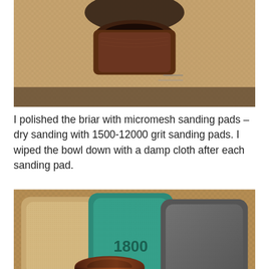[Figure (photo): Close-up photo of a wooden pipe bowl on a textured woven mat surface, showing the top/rim of the bowl with dark wood grain detail.]
I polished the briar with micromesh sanding pads – dry sanding with 1500-12000 grit sanding pads. I wiped the bowl down with a damp cloth after each sanding pad.
[Figure (photo): Photo of three micromesh sanding pads (tan/beige, teal/green labeled 1800, and dark gray) arranged behind a briar pipe bowl on a woven mat background.]
Advertisements
[Figure (photo): Victoria's Secret advertisement banner showing a woman with curly hair, the VS logo, 'SHOP THE COLLECTION' text, and a 'SHOP NOW' button on a pink background.]